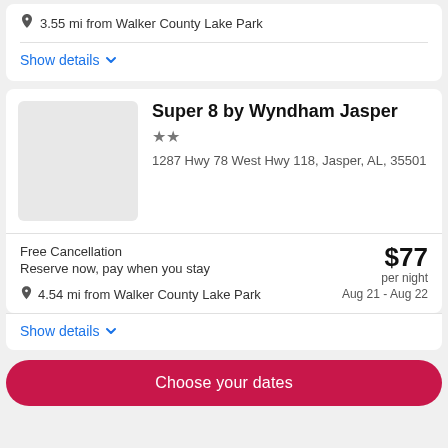3.55 mi from Walker County Lake Park
Show details
Super 8 by Wyndham Jasper
1287 Hwy 78 West Hwy 118, Jasper, AL, 35501
Free Cancellation
Reserve now, pay when you stay
4.54 mi from Walker County Lake Park
$77 per night
Aug 21 - Aug 22
Show details
Choose your dates